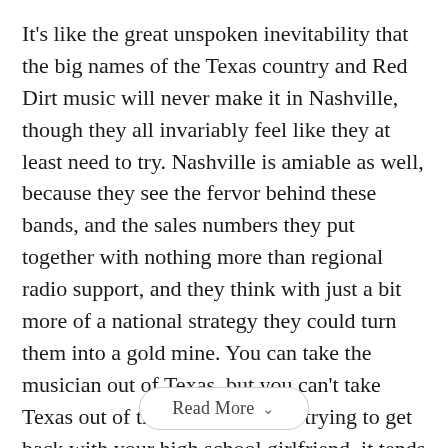It's like the great unspoken inevitability that the big names of the Texas country and Red Dirt music will never make it in Nashville, though they all invariably feel like they at least need to try. Nashville is amiable as well, because they see the fervor behind these bands, and the sales numbers they put together with nothing more than regional radio support, and they think with just a bit more of a national strategy they could turn them into a gold mine. You can take the musician out of Texas, but you can't take Texas out of the musician. Like trying to get back with your high school girlfriend, it tends to never work for Texas country artists in Tennessee, no matter the best intentions of the parties.
Read More